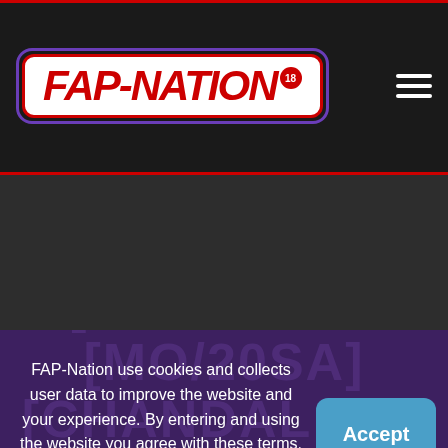[Figure (logo): FAP-Nation logo with red text on white background, purple rounded border, red inner border, with a red circle containing '18' superscript]
[Figure (other): Hamburger menu icon (three horizontal white lines) in top right corner]
[Figure (other): Dark gray background section with blurred/dim content thumbnails]
[Figure (other): Purple watermark background text reading partial words/tags]
FAP-Nation use cookies and collects user data to improve the website and your experience. By entering and using the website you agree with these terms. Learn More
Accept